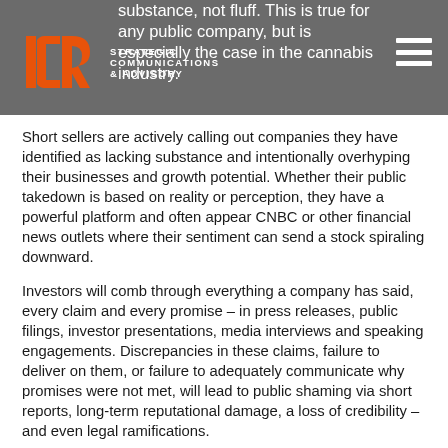ICR Strategic Communications & Advisory
substance, not fluff. This is true for any public company, but is especially the case in the cannabis industry.
Short sellers are actively calling out companies they have identified as lacking substance and intentionally overhyping their businesses and growth potential. Whether their public takedown is based on reality or perception, they have a powerful platform and often appear CNBC or other financial news outlets where their sentiment can send a stock spiraling downward.
Investors will comb through everything a company has said, every claim and every promise – in press releases, public filings, investor presentations, media interviews and speaking engagements. Discrepancies in these claims, failure to deliver on them, or failure to adequately communicate why promises were not met, will lead to public shaming via short reports, long-term reputational damage, a loss of credibility – and even legal ramifications.
Maintaining Credibility
Our work with cannabis companies of all types gives